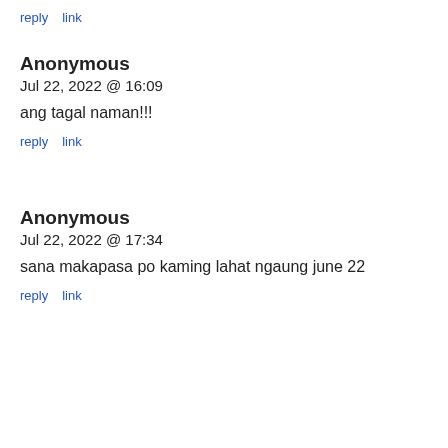reply   link
Anonymous
Jul 22, 2022 @ 16:09
ang tagal naman!!!
reply   link
Anonymous
Jul 22, 2022 @ 17:34
sana makapasa po kaming lahat ngaung june 22
reply   link